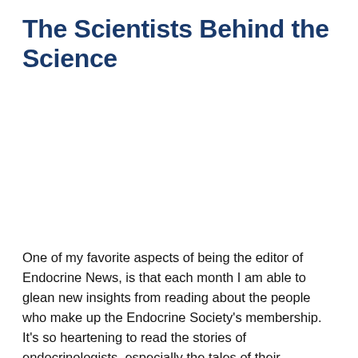The Scientists Behind the Science
One of my favorite aspects of being the editor of Endocrine News, is that each month I am able to glean new insights from reading about the people who make up the Endocrine Society's membership. It's so heartening to read the stories of endocrinologists, especially the tales of their underlying